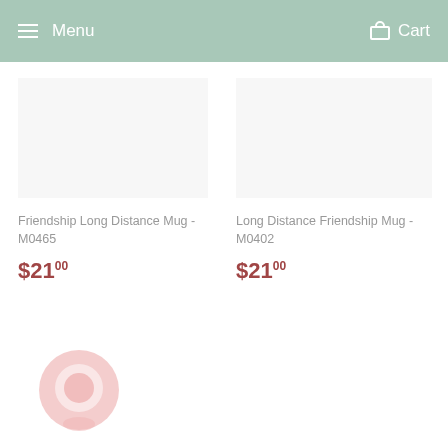Menu  Cart
Friendship Long Distance Mug - M0465
$21.00
Long Distance Friendship Mug - M0402
$21.00
[Figure (illustration): Pink chat bubble / messaging icon in bottom-left corner]